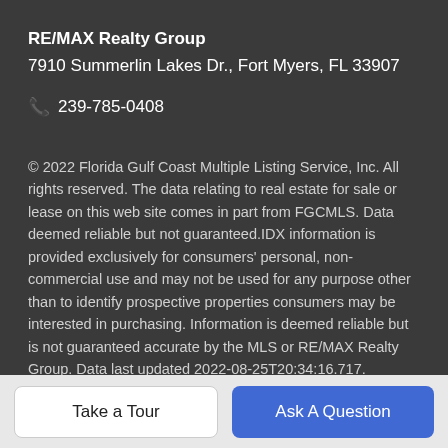RE/MAX Realty Group
7910 Summerlin Lakes Dr., Fort Myers, FL 33907
📞 239-785-0408
© 2022 Florida Gulf Coast Multiple Listing Service, Inc. All rights reserved. The data relating to real estate for sale or lease on this web site comes in part from FGCMLS. Data deemed reliable but not guaranteed.IDX information is provided exclusively for consumers' personal, non-commercial use and may not be used for any purpose other than to identify prospective properties consumers may be interested in purchasing. Information is deemed reliable but is not guaranteed accurate by the MLS or RE/MAX Realty Group. Data last updated 2022-08-25T20:34:16.717.
Take a Tour
Ask A Question